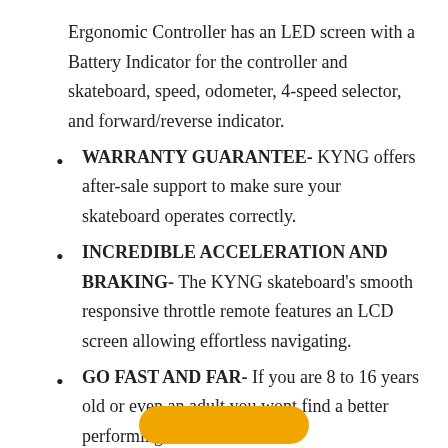Ergonomic Controller has an LED screen with a Battery Indicator for the controller and skateboard, speed, odometer, 4-speed selector, and forward/reverse indicator.
WARRANTY GUARANTEE- KYNG offers after-sale support to make sure your skateboard operates correctly.
INCREDIBLE ACCELERATION AND BRAKING- The KYNG skateboard's smooth responsive throttle remote features an LCD screen allowing effortless navigating.
GO FAST AND FAR- If you are 8 to 16 years old or even an adult you wont find a better performing board.